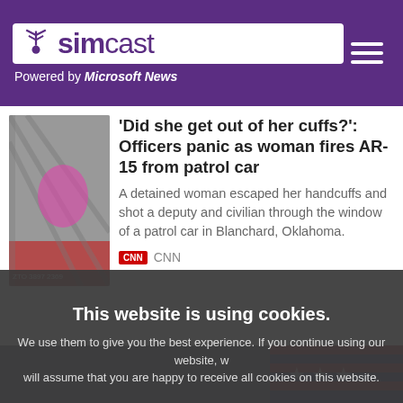simcast — Powered by Microsoft News
'Did she get out of her cuffs?': Officers panic as woman fires AR-15 from patrol car
A detained woman escaped her handcuffs and shot a deputy and civilian through the window of a patrol car in Blanchard, Oklahoma.
CNN
[Figure (screenshot): News article thumbnail showing a woman in a patrol car]
[Figure (photo): News image strip showing American flag]
This website is using cookies. We use them to give you the best experience. If you continue using our website, we will assume that you are happy to receive all cookies on this website.
[Figure (photo): Photo of a man in a suit with American flag in background, partially visible]